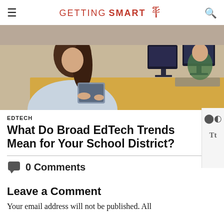GETTING SMART
[Figure (photo): A woman in a light blue cardigan holds a tablet in the foreground; in the background, students or workers sit at computers in what appears to be a classroom or office setting.]
EDTECH
What Do Broad EdTech Trends Mean for Your School District?
0 Comments
Leave a Comment
Your email address will not be published. All